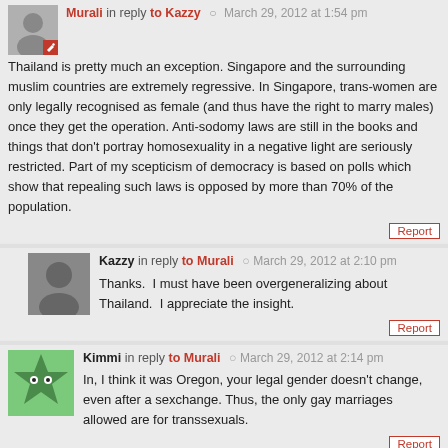Murali in reply to Kazzy — March 29, 2012 at 1:54 pm
Thailand is pretty much an exception. Singapore and the surrounding muslim countries are extremely regressive. In Singapore, trans-women are only legally recognised as female (and thus have the right to marry males) once they get the operation. Anti-sodomy laws are still in the books and things that don't portray homosexuality in a negative light are seriously restricted. Part of my scepticism of democracy is based on polls which show that repealing such laws is opposed by more than 70% of the population.
Kazzy in reply to Murali — March 29, 2012 at 2:10 pm
Thanks.  I must have been overgeneralizing about Thailand.  I appreciate the insight.
Kimmi in reply to Murali — March 29, 2012 at 2:14 pm
In, I think it was Oregon, your legal gender doesn't change, even after a sexchange. Thus, the only gay marriages allowed are for transsexuals.
Kazzy in reply to Kazzy — March 29, 2012 at 2:05 pm